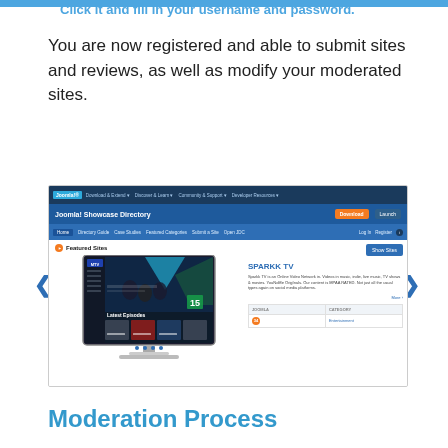Click it and fill in your username and password.
You are now registered and able to submit sites and reviews, as well as modify your moderated sites.
[Figure (screenshot): Screenshot of the Joomla! Showcase Directory website showing Featured Sites section with SPARKK TV highlighted, including navigation bars, a monitor mockup displaying the TV site, and site details panel.]
Moderation Process